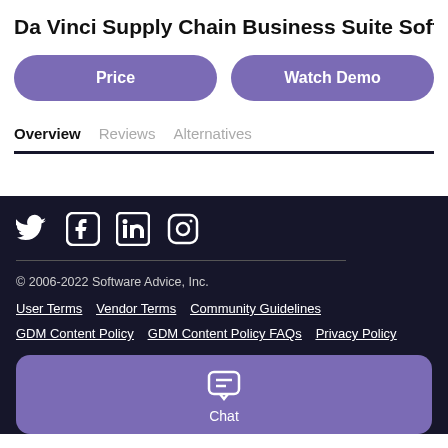Da Vinci Supply Chain Business Suite Software
Price
Watch Demo
Overview
Reviews
Alternatives
[Figure (other): Social media icons: Twitter, Facebook, LinkedIn, Instagram on dark background]
© 2006-2022 Software Advice, Inc.
User Terms   Vendor Terms   Community Guidelines
GDM Content Policy   GDM Content Policy FAQs   Privacy Policy
Chat